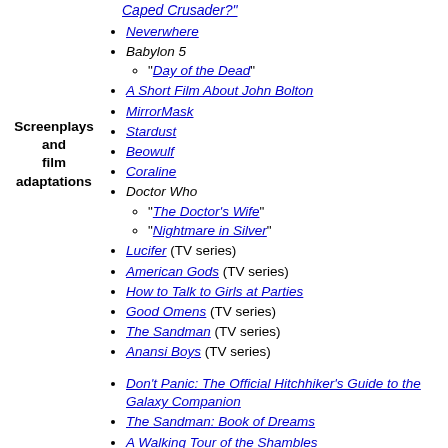Caped Crusader?
Neverwhere
Babylon 5 — Day of the Dead
A Short Film About John Bolton
MirrorMask
Stardust
Beowulf
Coraline
Doctor Who — The Doctor's Wife, Nightmare in Silver
Lucifer (TV series)
American Gods (TV series)
How to Talk to Girls at Parties
Good Omens (TV series)
The Sandman (TV series)
Anansi Boys (TV series)
Don't Panic: The Official Hitchhiker's Guide to the Galaxy Companion
The Sandman: Book of Dreams
A Walking Tour of the Shambles
Two Plays for Voices